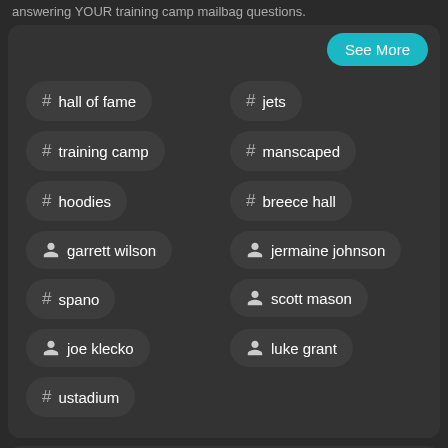answering YOUR training camp mailbag questions.
# hall of fame
# jets
# training camp
# manscaped
# hoodies
# breece hall
👤 garrett wilson
👤 jermaine johnson
# spano
👤 scott mason
👤 joe klecko
👤 luke grant
# ustadium
Fantasy Football Advice with Matthew Perry